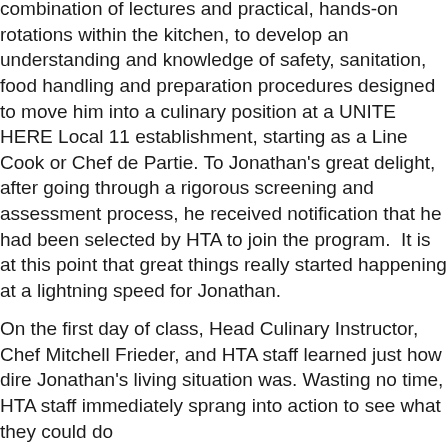combination of lectures and practical, hands-on rotations within the kitchen, to develop an understanding and knowledge of safety, sanitation, food handling and preparation procedures designed to move him into a culinary position at a UNITE HERE Local 11 establishment, starting as a Line Cook or Chef de Partie. To Jonathan's great delight, after going through a rigorous screening and assessment process, he received notification that he had been selected by HTA to join the program.  It is at this point that great things really started happening at a lightning speed for Jonathan.
On the first day of class, Head Culinary Instructor, Chef Mitchell Frieder, and HTA staff learned just how dire Jonathan's living situation was. Wasting no time, HTA staff immediately sprang into action to see what they could do